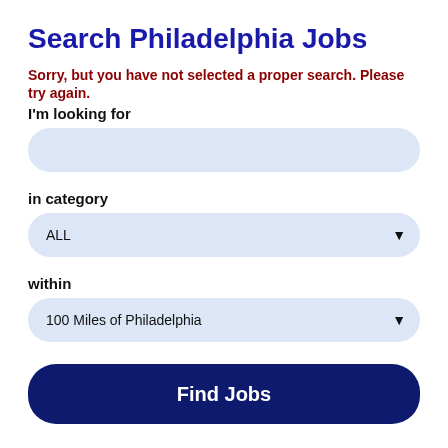Search Philadelphia Jobs
Sorry, but you have not selected a proper search. Please try again.
I'm looking for
[Figure (other): Text input field, empty, rounded rectangle with light blue background]
in category
[Figure (other): Dropdown select field showing 'ALL' with a down arrow, rounded rectangle with light blue background]
within
[Figure (other): Dropdown select field showing '100 Miles of Philadelphia' with a down arrow, rounded rectangle with light blue background]
Find Jobs